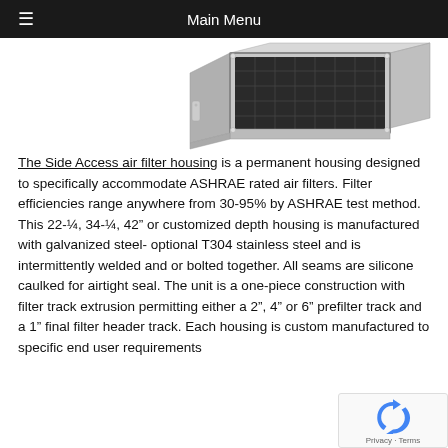Main Menu
[Figure (photo): Side Access air filter housing unit, showing a metal frame with filter media, angled product photo on white background]
The Side Access air filter housing is a permanent housing designed to specifically accommodate ASHRAE rated air filters. Filter efficiencies range anywhere from 30-95% by ASHRAE test method. This 22-¼, 34-¼, 42" or customized depth housing is manufactured with galvanized steel- optional T304 stainless steel and is intermittently welded and or bolted together. All seams are silicone caulked for airtight seal. The unit is a one-piece construction with filter track extrusion permitting either a 2", 4" or 6" prefilter track and a 1" final filter header track. Each housing is custom manufactured to specific end user requirements